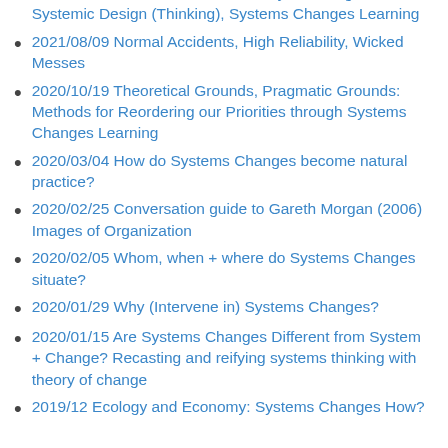2021/11/09 Friends of Focus: Theory of Change, Systemic Design (Thinking), Systems Changes Learning
2021/08/09 Normal Accidents, High Reliability, Wicked Messes
2020/10/19 Theoretical Grounds, Pragmatic Grounds: Methods for Reordering our Priorities through Systems Changes Learning
2020/03/04 How do Systems Changes become natural practice?
2020/02/25 Conversation guide to Gareth Morgan (2006) Images of Organization
2020/02/05 Whom, when + where do Systems Changes situate?
2020/01/29 Why (Intervene in) Systems Changes?
2020/01/15 Are Systems Changes Different from System + Change? Recasting and reifying systems thinking with theory of change
2019/12 Ecology and Economy: Systems Changes How?